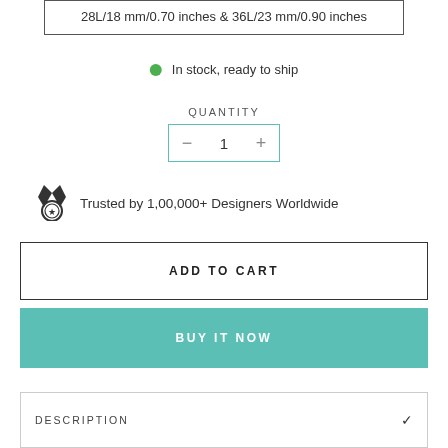28L/18 mm/0.70 inches & 36L/23 mm/0.90 inches
In stock, ready to ship
QUANTITY
1
Trusted by 1,00,000+ Designers Worldwide
ADD TO CART
BUY IT NOW
DESCRIPTION
SHIPPING INFORMATION